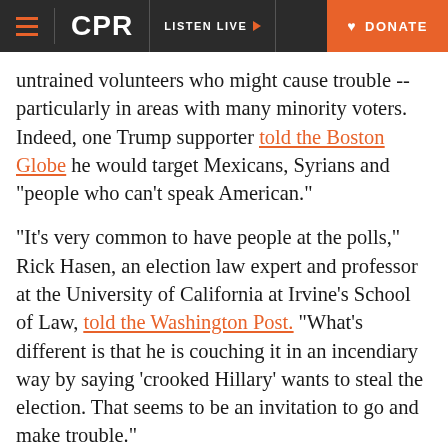CPR | LISTEN LIVE | DONATE
untrained volunteers who might cause trouble -- particularly in areas with many minority voters. Indeed, one Trump supporter told the Boston Globe he would target Mexicans, Syrians and “people who can’t speak American.”
“It’s very common to have people at the polls,” Rick Hasen, an election law expert and professor at the University of California at Irvine’s School of Law, told the Washington Post. “What’s different is that he is couching it in an incendiary way by saying ‘crooked Hillary’ wants to steal the election. That seems to be an invitation to go and make trouble.”
The opportunity for trouble is diminished in